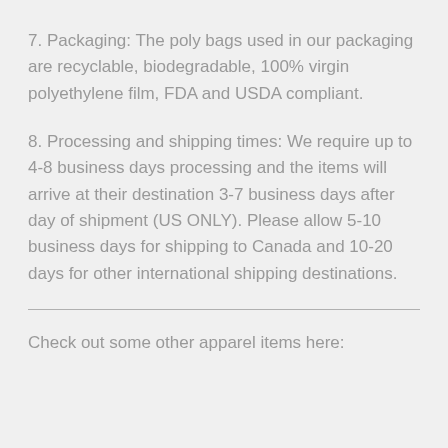7. Packaging: The poly bags used in our packaging are recyclable, biodegradable, 100% virgin polyethylene film, FDA and USDA compliant.
8. Processing and shipping times: We require up to 4-8 business days processing and the items will arrive at their destination 3-7 business days after day of shipment (US ONLY). Please allow 5-10 business days for shipping to Canada and 10-20 days for other international shipping destinations.
Check out some other apparel items here: